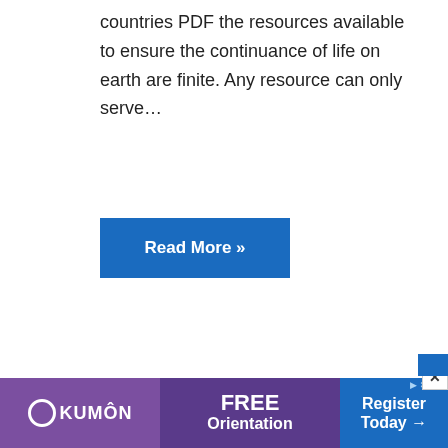countries PDF the resources available to ensure the continuance of life on earth are finite. Any resource can only serve…
Read More »
[Figure (illustration): Book cover: Mississippi's Comprehensive Wildlife Conservation Strategy 2005 – 2015, green cover with forest photos]
[Figure (infographic): Kumon advertisement banner: FREE Orientation — Register Today]